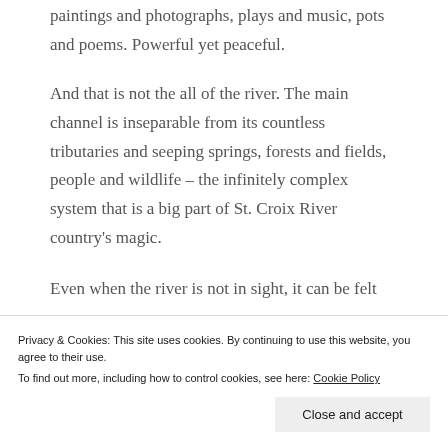paintings and photographs, plays and music, pots and poems. Powerful yet peaceful.
And that is not the all of the river. The main channel is inseparable from its countless tributaries and seeping springs, forests and fields, people and wildlife – the infinitely complex system that is a big part of St. Croix River country's magic.
Even when the river is not in sight, it can be felt
Privacy & Cookies: This site uses cookies. By continuing to use this website, you agree to their use.
To find out more, including how to control cookies, see here: Cookie Policy